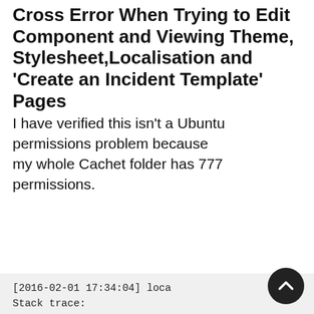Cross Error When Trying to Edit Component and Viewing Theme, Stylesheet,Localisation and 'Create an Incident Template' Pages
I have verified this isn't a Ubuntu permissions problem because my whole Cachet folder has 777 permissions.
[2016-02-01 17:34:04] loca
Stack trace:
#0 /var/www/html/Cachet/ve
#1 /var/www/html/Cachet/ve
#2 /var/www/html/Cachet/ve
#3 /var/www/html/Cachet/ve
#4 /var/www/html/Cachet/ve
#5 /var/www/html/Cachet/ve
#6 /var/www/html/Cachet/ve
#7 /var/www/html/Cachet/ve
#8 /var/www/html/Cachet/ap
#9 [internal function]: Ca
#10 /var/www/html/Cachet/b
#11 [internal function]: }